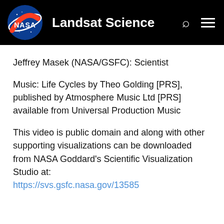NASA Landsat Science
Jeffrey Masek (NASA/GSFC): Scientist
Music: Life Cycles by Theo Golding [PRS], published by Atmosphere Music Ltd [PRS] available from Universal Production Music
This video is public domain and along with other supporting visualizations can be downloaded from NASA Goddard's Scientific Visualization Studio at: https://svs.gsfc.nasa.gov/13585